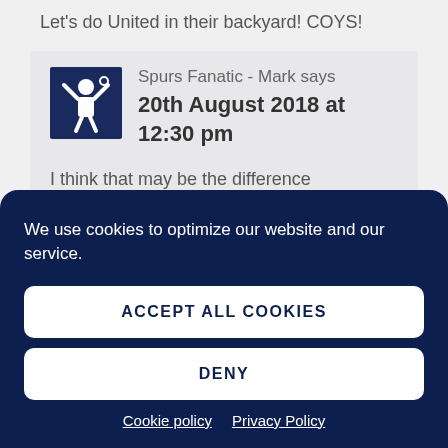Let's do United in their backyard! COYS!
Spurs Fanatic - Mark says 20th August 2018 at 12:30 pm
I think that may be the difference
We use cookies to optimize our website and our service.
ACCEPT ALL COOKIES
DENY
Cookie policy Privacy Policy